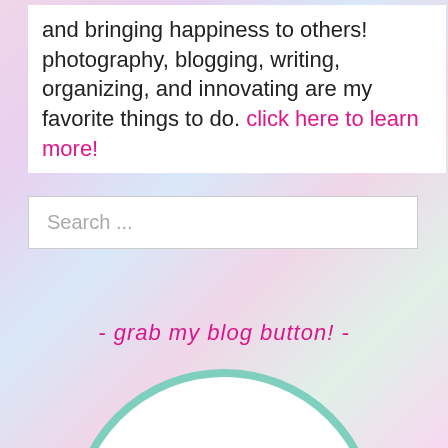and bringing happiness to others! photography, blogging, writing, organizing, and innovating are my favorite things to do. click here to learn more!
Search ...
- grab my blog button! -
[Figure (logo): Maggie's blog button — a teal circle outline with handwritten script text reading "maggie's" and a partial face illustration below]